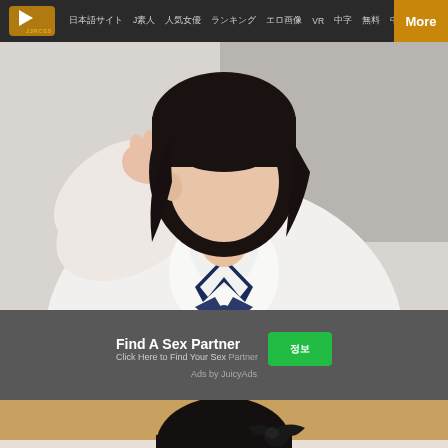JJRCSS navigation bar with logo and links: JJRCSS, J, [Korean nav items], More
[Figure (photo): Person wearing white knit sweater and navy blue tie/ribbon, close-up upper body shot, hand near chin]
[Figure (screenshot): Dark gray strip with large white X button on the right side]
[Figure (infographic): Ad banner: Find A Sex Partner - Click Here to Find Your Sex [partner], with green button and Ads by JuicyAds label]
[Figure (photo): Person with black hair and black bow accessory, light background, close-up face shot]